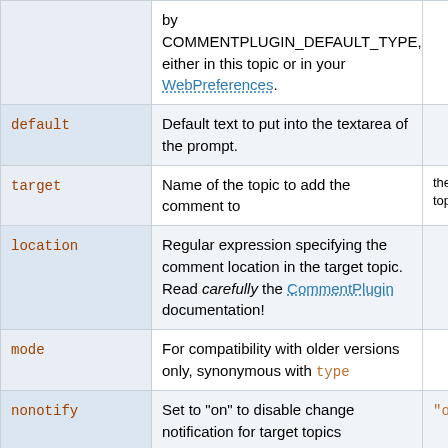| Parameter | Description | Default |
| --- | --- | --- |
|  | by COMMENTPLUGIN_DEFAULT_TYPE, either in this topic or in your WebPreferences. |  |
| default | Default text to put into the textarea of the prompt. |  |
| target | Name of the topic to add the comment to | the current topic |
| location | Regular expression specifying the comment location in the target topic. Read carefully the CommentPlugin documentation! |  |
| mode | For compatibility with older versions only, synonymous with type |  |
| nonotify | Set to "on" to disable change notification for target topics | "off" |
| noform | Set to "on" to disable the automatic form that encloses your comment block - remember to insert <form> tags | "off" |